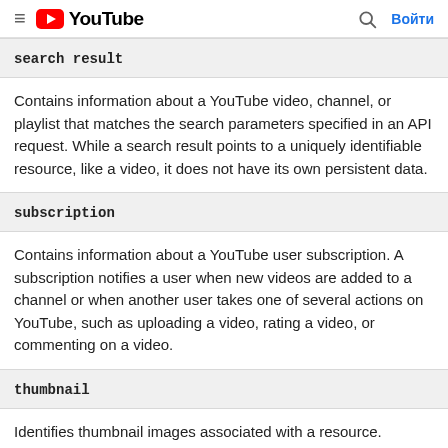YouTube — Войти
search result
Contains information about a YouTube video, channel, or playlist that matches the search parameters specified in an API request. While a search result points to a uniquely identifiable resource, like a video, it does not have its own persistent data.
subscription
Contains information about a YouTube user subscription. A subscription notifies a user when new videos are added to a channel or when another user takes one of several actions on YouTube, such as uploading a video, rating a video, or commenting on a video.
thumbnail
Identifies thumbnail images associated with a resource.
video